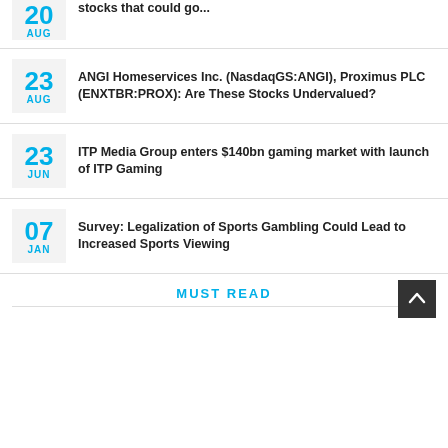20 AUG — stocks that could go...
23 AUG — ANGI Homeservices Inc. (NasdaqGS:ANGI), Proximus PLC (ENXTBR:PROX): Are These Stocks Undervalued?
23 JUN — ITP Media Group enters $140bn gaming market with launch of ITP Gaming
07 JAN — Survey: Legalization of Sports Gambling Could Lead to Increased Sports Viewing
MUST READ